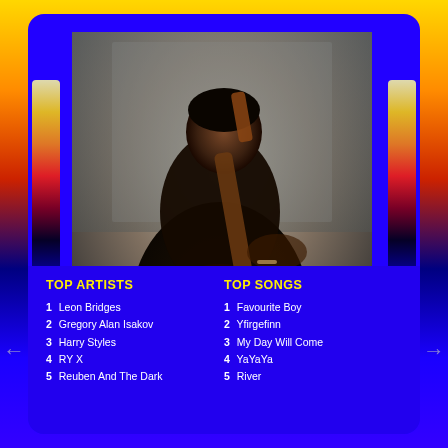[Figure (photo): A person playing acoustic guitar, photographed in a slightly vintage/warm-toned style. The subject is wearing a dark top and playing a brown acoustic guitar. Background is muted gray-blue.]
TOP ARTISTS
1 Leon Bridges
2 Gregory Alan Isakov
3 Harry Styles
4 RY X
5 Reuben And The Dark
TOP SONGS
1 Favourite Boy
2 Yfirgefinn
3 My Day Will Come
4 YaYaYa
5 River